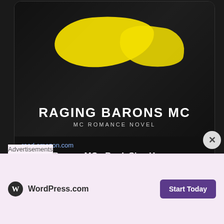[Figure (screenshot): Book cover for Raging Barons MC with yellow paint splash design, showing 'RAGING BARONS MC' text and 'MC ROMANCE NOVEL' subtitle. Below: read.amazon.com link and title 'Raging Barons MC - Book Six - Hammer'. Tweet action icons (comment, like) below card.]
[Figure (screenshot): Twitter/X post by 'lisa thomasson ju...' @lisajonj... Sep 4 reading '4 of 5 stars to Raging Barons MC - Book Six - Hammer by J.E Daelman' with goodreads.com/review/show/49... link and partial goodreads card preview]
Advertisements
[Figure (screenshot): WordPress.com advertisement banner with pink/lavender background showing WordPress.com logo and 'Start Today' purple button]